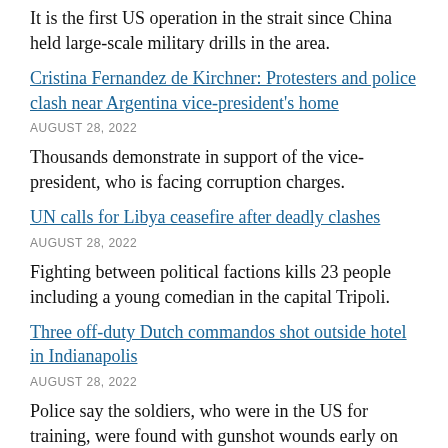It is the first US operation in the strait since China held large-scale military drills in the area.
Cristina Fernandez de Kirchner: Protesters and police clash near Argentina vice-president's home
AUGUST 28, 2022
Thousands demonstrate in support of the vice-president, who is facing corruption charges.
UN calls for Libya ceasefire after deadly clashes
AUGUST 28, 2022
Fighting between political factions kills 23 people including a young comedian in the capital Tripoli.
Three off-duty Dutch commandos shot outside hotel in Indianapolis
AUGUST 28, 2022
Police say the soldiers, who were in the US for training, were found with gunshot wounds early on Saturday.
Pakistan appeals to world for flood help amid